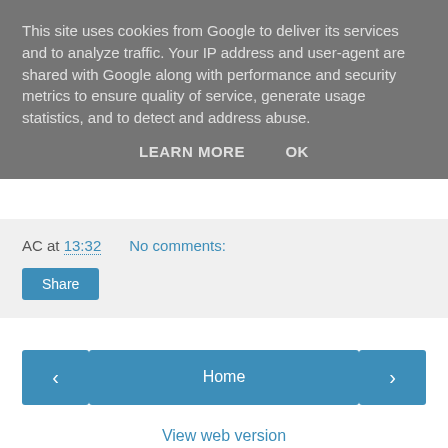This site uses cookies from Google to deliver its services and to analyze traffic. Your IP address and user-agent are shared with Google along with performance and security metrics to ensure quality of service, generate usage statistics, and to detect and address abuse.
LEARN MORE   OK
AC at 13:32   No comments:
Share
‹
Home
›
View web version
Powered by Blogger.